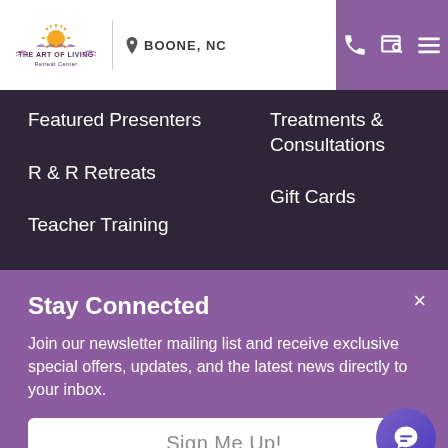[Figure (logo): The Art of Living Retreat Center logo with sun graphic]
BOONE, NC
Featured Presenters
R & R Retreats
Teacher Training
Online Programs
Treatments & Consultations
Gift Cards
Stay Connected
Join our newsletter mailing list and receive exclusive special offers, updates, and the latest news directly to your inbox.
Sign Me Up!